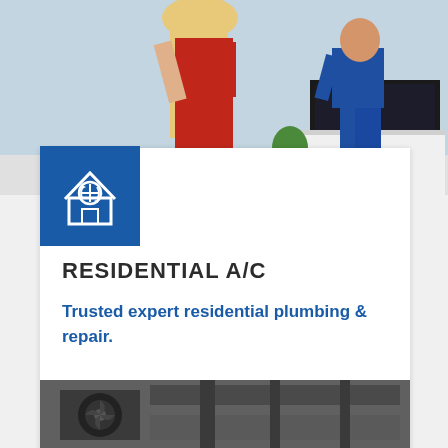[Figure (photo): Photo of a woman in red dress with long blonde hair facing away, and a male technician in blue overalls working near a TV/cabinet unit against a light blue wall]
[Figure (illustration): Blue square icon box containing a white line-art illustration of a house with a snowflake/AC symbol inside]
RESIDENTIAL A/C
Trusted expert residential plumbing & repair.
READ MORE ›
[Figure (photo): Bottom partial photo showing HVAC/AC equipment machinery, dark mechanical parts]